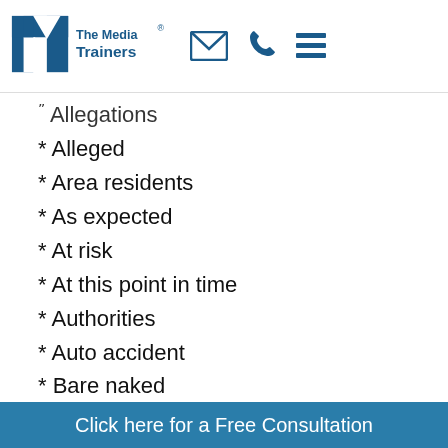The Media Trainers [logo with email, phone, menu icons]
* Allegations
* Alleged
* Area residents
* As expected
* At risk
* At this point in time
* Authorities
* Auto accident
* Bare naked
* Behind bars
* Behind closed doors
* Behind the scenes/
Click here for a Free Consultation